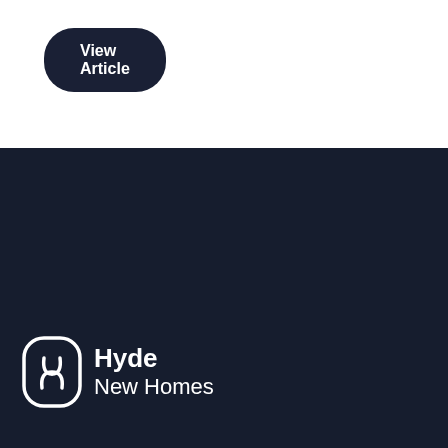[Figure (other): Dark rounded button labeled 'View Article' on white background]
[Figure (logo): Hyde New Homes logo with stylized H icon on dark navy background]
Great homes for everyone
This site uses cookies. By continuing to browse and use the site you are agreeing to our use of cookies. To find out more please see our privacy statement.
Accept
Cookies settings